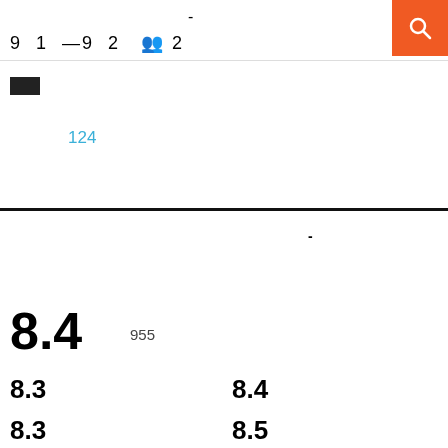-
9  1  —9  2    👥 2
[Figure (other): Black rectangle icon]
124
-
8.4    955
8.3
8.4
8.3
8.5